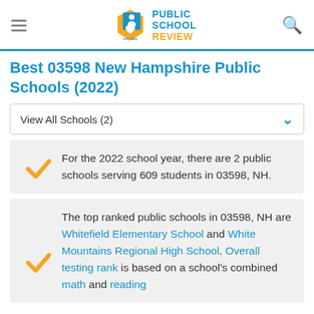Public School Review — EST. 2003
Best 03598 New Hampshire Public Schools (2022)
View All Schools (2)
For the 2022 school year, there are 2 public schools serving 609 students in 03598, NH.
The top ranked public schools in 03598, NH are Whitefield Elementary School and White Mountains Regional High School. Overall testing rank is based on a school's combined math and reading